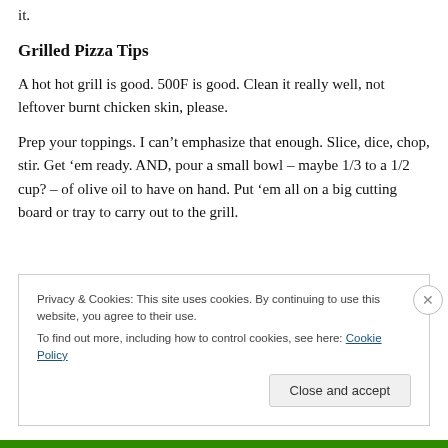it.
Grilled Pizza Tips
A hot hot grill is good. 500F is good. Clean it really well, not leftover burnt chicken skin, please.
Prep your toppings. I can’t emphasize that enough. Slice, dice, chop, stir. Get ’em ready. AND, pour a small bowl – maybe 1/3 to a 1/2 cup? – of olive oil to have on hand. Put ’em all on a big cutting board or tray to carry out to the grill.
Privacy & Cookies: This site uses cookies. By continuing to use this website, you agree to their use.
To find out more, including how to control cookies, see here: Cookie Policy